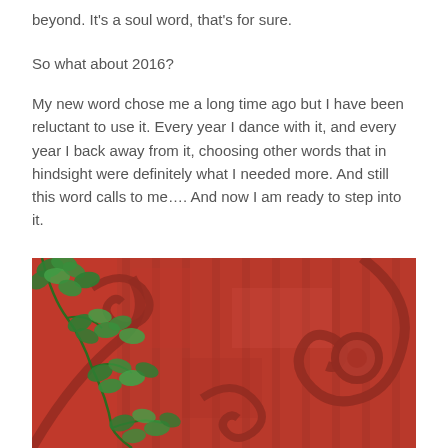beyond. It’s a soul word, that’s for sure.
So what about 2016?
My new word chose me a long time ago but I have been reluctant to use it. Every year I dance with it, and every year I back away from it, choosing other words that in hindsight were definitely what I needed more. And still this word calls to me…. And now I am ready to step into it.
[Figure (photo): A red iron gate with decorative spiral ironwork details, partially covered with green ivy climbing up the left side. The gate has vertical red metal bars and ornamental scrollwork elements.]